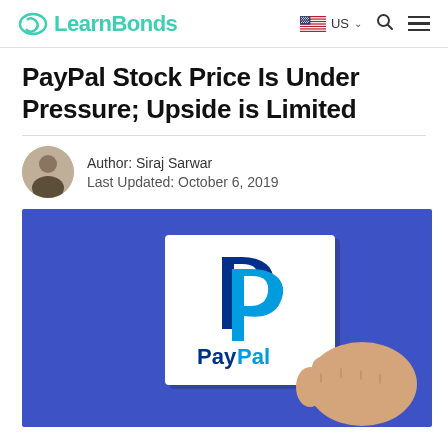LearnBonds | US
PayPal Stock Price Is Under Pressure; Upside is Limited
Author: Siraj Sarwar
Last Updated: October 6, 2019
[Figure (photo): A hand holding a white card with the PayPal logo (the blue P icon and PayPal text in blue) against a cobalt blue background.]